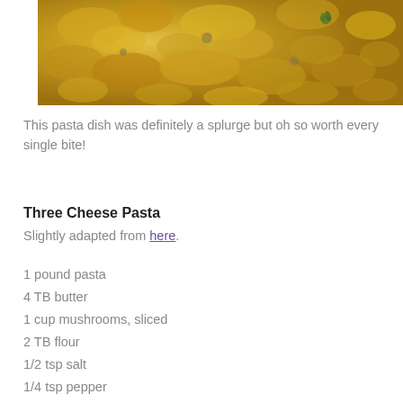[Figure (photo): Close-up photo of creamy three cheese pasta with shell-shaped pasta, mushrooms, and fresh thyme garnish]
This pasta dish was definitely a splurge but oh so worth every single bite!
Three Cheese Pasta
Slightly adapted from here.
1 pound pasta
4 TB butter
1 cup mushrooms, sliced
2 TB flour
1/2 tsp salt
1/4 tsp pepper